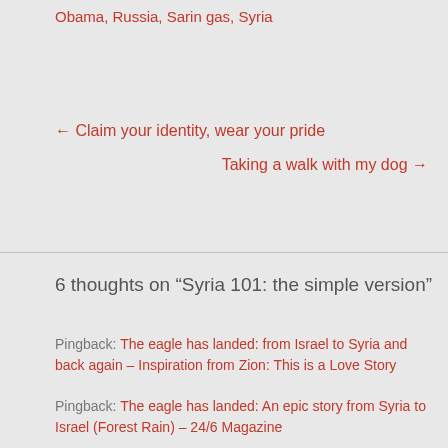Obama, Russia, Sarin gas, Syria
← Claim your identity, wear your pride
Taking a walk with my dog →
6 thoughts on “Syria 101: the simple version”
Pingback: The eagle has landed: from Israel to Syria and back again – Inspiration from Zion: This is a Love Story
Pingback: The eagle has landed: An epic story from Syria to Israel (Forest Rain) – 24/6 Magazine